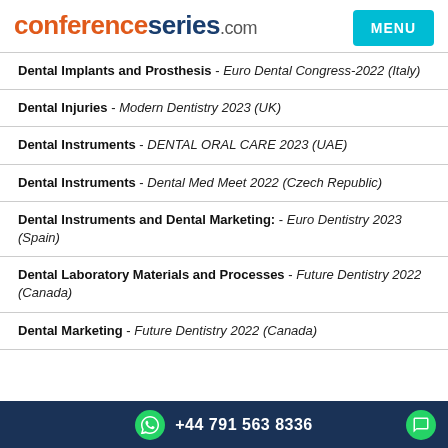conferenceseries.com MENU
Dental Implants and Prosthesis - Euro Dental Congress-2022 (Italy)
Dental Injuries - Modern Dentistry 2023 (UK)
Dental Instruments - DENTAL ORAL CARE 2023 (UAE)
Dental Instruments - Dental Med Meet 2022 (Czech Republic)
Dental Instruments and Dental Marketing: - Euro Dentistry 2023 (Spain)
Dental Laboratory Materials and Processes - Future Dentistry 2022 (Canada)
Dental Marketing - Future Dentistry 2022 (Canada)
+44 791 563 8336